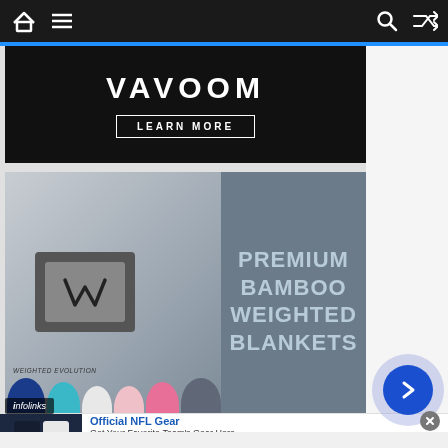[Figure (screenshot): Website navigation bar with home icon, hamburger menu, search icon, and shuffle icon on dark background]
[Figure (photo): VAVOOM brand advertisement banner on black background with LEARN MORE button]
[Figure (photo): Premium Bamboo Weighted Blankets product advertisement showing rolled blankets in multiple colors with product text overlay]
infolinks
[Figure (photo): Official NFL Gear advertisement showing football jerseys with text: Get Your Favorite Team's Gear Here, www.nflshop.com]